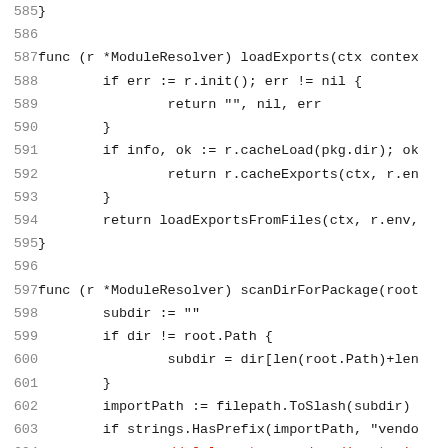Code listing lines 585-605, Go source code showing ModuleResolver methods loadExports and scanDirForPackage